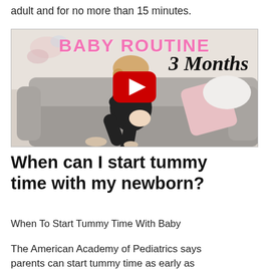adult and for no more than 15 minutes.
[Figure (screenshot): YouTube video thumbnail showing a woman sitting on a grey couch holding a baby, with pink bold text 'BABY ROUTINE' at top and handwritten-style '3 Months' text, and a YouTube play button overlay in the center.]
When can I start tummy time with my newborn?
When To Start Tummy Time With Baby
The American Academy of Pediatrics says parents can start tummy time as early as